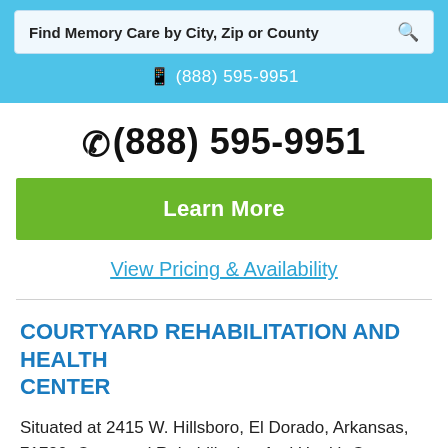Find Memory Care by City, Zip or County
(888) 595-9951
(888) 595-9951
Learn More
View Pricing & Availability
COURTYARD REHABILITATION AND HEALTH CENTER
Situated at 2415 W. Hillsboro, El Dorado, Arkansas, 71730, Courtyard Rehabilitation And Health Center can aid any Union county senior citizen with